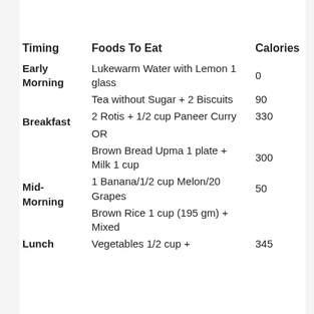| Timing | Foods To Eat | Calories |
| --- | --- | --- |
| Early Morning | Lukewarm Water with Lemon 1 glass | 0 |
|  | Tea without Sugar + 2 Biscuits | 90 |
| Breakfast | 2 Rotis + 1/2 cup Paneer Curry | 330 |
|  | OR |  |
|  | Brown Bread Upma 1 plate + Milk 1 cup | 300 |
| Mid-Morning | 1 Banana/1/2 cup Melon/20 Grapes | 50 |
|  | Brown Rice 1 cup (195 gm) + Mixed |  |
| Lunch | Vegetables 1/2 cup + | 345 |